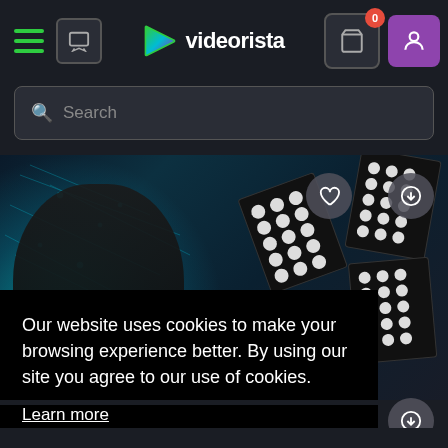[Figure (screenshot): Videorista website navigation bar with hamburger menu, chat icon, logo with play-button icon, cart with badge showing 0, and purple profile button]
[Figure (screenshot): Search bar with magnifying glass icon and placeholder text 'Search']
[Figure (photo): Hero image showing a person wearing VR headset surrounded by LED light panels and cyan digital effects, with heart and download action buttons]
Our website uses cookies to make your browsing experience better. By using our site you agree to our use of cookies.
Learn more
Close and don't show again